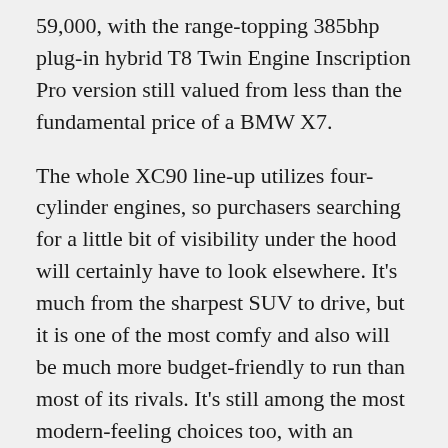59,000, with the range-topping 385bhp plug-in hybrid T8 Twin Engine Inscription Pro version still valued from less than the fundamental price of a BMW X7.
The whole XC90 line-up utilizes four-cylinder engines, so purchasers searching for a little bit of visibility under the hood will certainly have to look elsewhere. It's much from the sharpest SUV to drive, but it is one of the most comfy and also will be much more budget-friendly to run than most of its rivals. It's still among the most modern-feeling choices too, with an amazing, Scandinavian influence to the cabin layout.
6. Audi Q7
The Audi Q7 has been a hit in Britain since introducing in 2007, and the current version